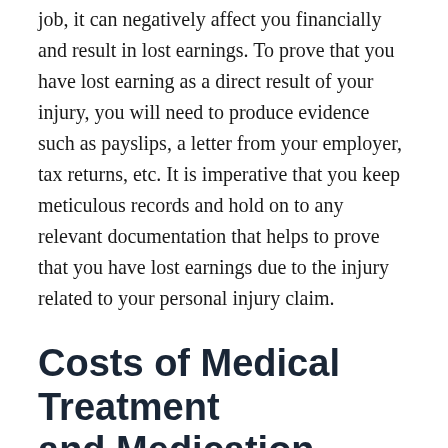job, it can negatively affect you financially and result in lost earnings. To prove that you have lost earning as a direct result of your injury, you will need to produce evidence such as payslips, a letter from your employer, tax returns, etc. It is imperative that you keep meticulous records and hold on to any relevant documentation that helps to prove that you have lost earnings due to the injury related to your personal injury claim.
Costs of Medical Treatment and Medication
Healthcare can be expensive. The average person may not have the means to pay it back. Sometimes a medical bill for an injury can reach thousands of dollars. Medical treatment and care can go on during the recovery period...